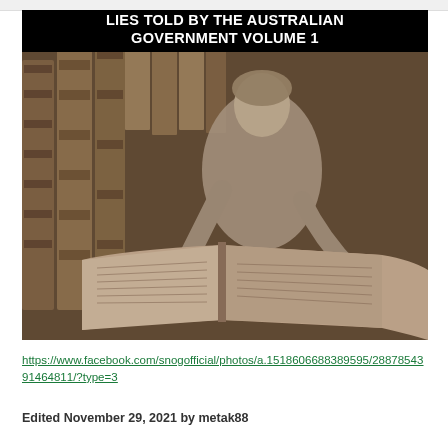[Figure (photo): Black and white vintage sepia photograph of a person bending over a large open book or ledger, with many large bound volumes stacked around them. The image has a title overlay at the top in bold white text on black background reading 'LIES TOLD BY THE AUSTRALIAN GOVERNMENT VOLUME 1'.]
https://www.facebook.com/snogofficial/photos/a.1518606688389595/2887854391464811/?type=3
Edited November 29, 2021 by metak88